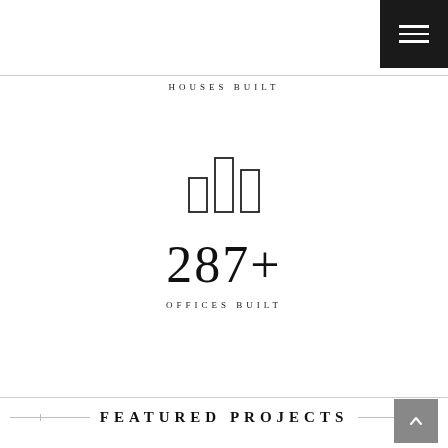[Figure (other): Hamburger menu button, dark background with three white horizontal lines, top-right corner]
HOUSES BUILT
[Figure (illustration): Bar chart icon outline, three bars of varying heights, centered on page]
287+
OFFICES BUILT
FEATURED PROJECTS